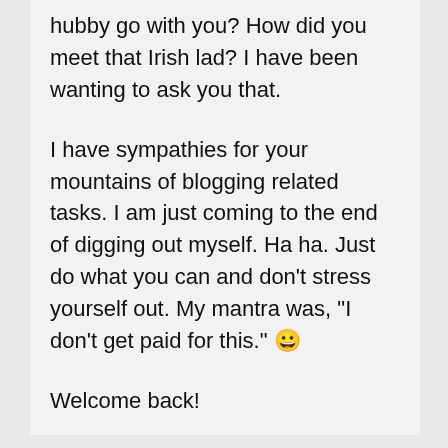hubby go with you? How did you meet that Irish lad? I have been wanting to ask you that.

I have sympathies for your mountains of blogging related tasks. I am just coming to the end of digging out myself. Ha ha. Just do what you can and don't stress yourself out. My mantra was, "I don't get paid for this." 😀

Welcome back!
Privacy & Cookies: This site uses cookies. By continuing to use this website, you agree to their use.
To find out more, including how to control cookies, see here: Cookie Policy
Close and accept